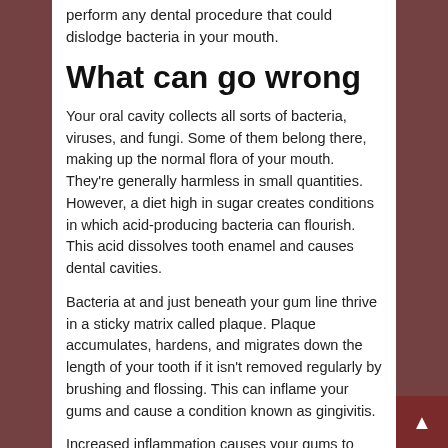perform any dental procedure that could dislodge bacteria in your mouth.
What can go wrong
Your oral cavity collects all sorts of bacteria, viruses, and fungi. Some of them belong there, making up the normal flora of your mouth. They're generally harmless in small quantities. However, a diet high in sugar creates conditions in which acid-producing bacteria can flourish. This acid dissolves tooth enamel and causes dental cavities.
Bacteria at and just beneath your gum line thrive in a sticky matrix called plaque. Plaque accumulates, hardens, and migrates down the length of your tooth if it isn't removed regularly by brushing and flossing. This can inflame your gums and cause a condition known as gingivitis.
Increased inflammation causes your gums to begin to